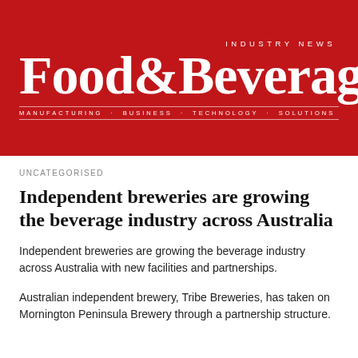[Figure (logo): Food & Beverage Industry News magazine logo on red background with tagline: Manufacturing · Business · Technology · Solutions]
UNCATEGORISED
Independent breweries are growing the beverage industry across Australia
Independent breweries are growing the beverage industry across Australia with new facilities and partnerships.
Australian independent brewery, Tribe Breweries, has taken on Mornington Peninsula Brewery through a partnership structure.